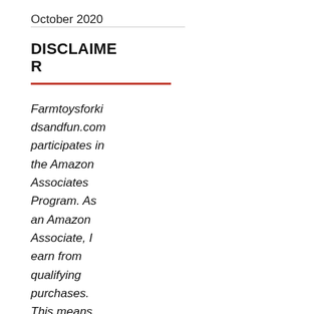October 2020
DISCLAIMER
Farmtoysforki dsandfun.com participates in the Amazon Associates Program. As an Amazon Associate, I earn from qualifying purchases. This means that a small commission is earned